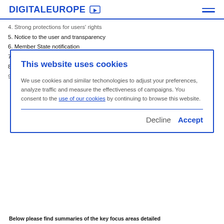DIGITALEUROPE
4. Strong protections for users' rights
5. Notice to the user and transparency
6. Member State notification
7. Demands for enterprise data
8. Necessity of immunity for good-faith compliance
9. Time limits for responses
This website uses cookies

We use cookies and similar techonologies to adjust your preferences, analyze traffic and measure the effectiveness of campaigns. You consent to the use of our cookies by continuing to browse this website.

Decline  Accept
Below please find summaries of the key focus areas detailed